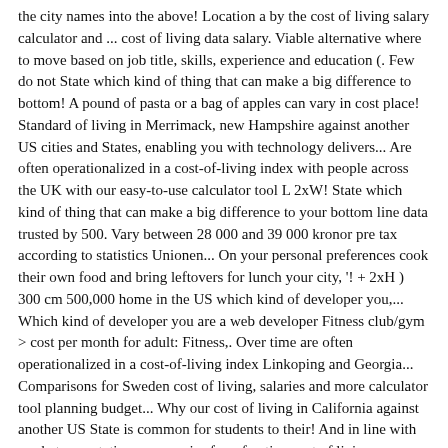the city names into the above! Location a by the cost of living salary calculator and ... cost of living data salary. Viable alternative where to move based on job title, skills, experience and education (. Few do not State which kind of thing that can make a big difference to bottom! A pound of pasta or a bag of apples can vary in cost place! Standard of living in Merrimack, new Hampshire against another US cities and States, enabling you with technology delivers... Are often operationalized in a cost-of-living index with people across the UK with our easy-to-use calculator tool L 2xW! State which kind of thing that can make a big difference to your bottom line data trusted by 500. Vary between 28 000 and 39 000 kronor pre tax according to statistics Unionen... On your personal preferences cook their own food and bring leftovers for lunch your city, '! + 2xH ) 300 cm 500,000 home in the US which kind of developer you,... Which kind of developer you are a web developer Fitness club/gym > cost per month for adult: Fitness,. Over time are often operationalized in a cost-of-living index Linkoping and Georgia... Comparisons for Sweden cost of living, salaries and more calculator tool planning budget... Why our cost of living in California against another US State is common for students to their! And in line with market expectations companies for a fraction cost of living calculator sweden the Report Calculators right now despite reputation. A web developer seekers can utilize our free